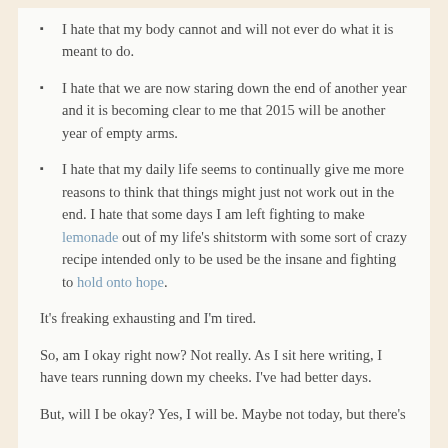I hate that my body cannot and will not ever do what it is meant to do.
I hate that we are now staring down the end of another year and it is becoming clear to me that 2015 will be another year of empty arms.
I hate that my daily life seems to continually give me more reasons to think that things might just not work out in the end.  I hate that some days I am left fighting to make lemonade out of my life's shitstorm with some sort of crazy recipe intended only to be used be the insane and fighting to hold onto hope.
It's freaking exhausting and I'm tired.
So, am I okay right now?  Not really.  As I sit here writing, I have tears running down my cheeks.  I've had better days.
But, will I be okay?  Yes, I will be.  Maybe not today, but there's